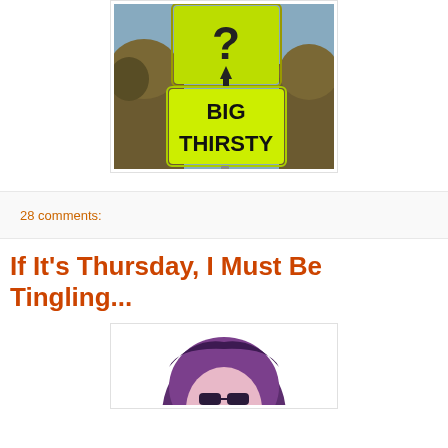[Figure (photo): Photo of two yellow-green road signs stacked, the bottom one reading 'BIG THIRSTY' in bold black text, with trees and blue sky in background]
28 comments:
If It's Thursday, I Must Be Tingling...
[Figure (illustration): Stylized illustration of a person's head/hair in purple tones, partially cropped at bottom of page]